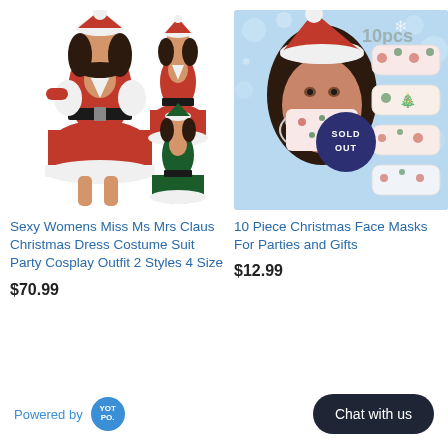[Figure (photo): Product photo of red and green Mrs Claus Christmas dress costumes shown on female models]
[Figure (photo): Product photo of 10-piece Christmas face masks on light blue background with 'SOLD OUT' badge and '10pcs' text]
Sexy Womens Miss Ms Mrs Claus Christmas Dress Costume Suit Party Cosplay Outfit 2 Styles 4 Size
$70.99
10 Piece Christmas Face Masks For Parties and Gifts
$12.99
Powered by
YOT PO.
Chat with us